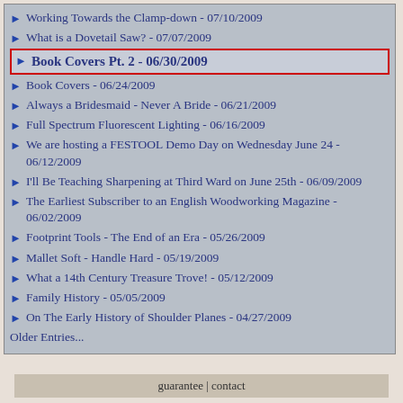Working Towards the Clamp-down - 07/10/2009
What is a Dovetail Saw? - 07/07/2009
Book Covers Pt. 2 - 06/30/2009
Book Covers - 06/24/2009
Always a Bridesmaid - Never A Bride - 06/21/2009
Full Spectrum Fluorescent Lighting - 06/16/2009
We are hosting a FESTOOL Demo Day on Wednesday June 24 - 06/12/2009
I'll Be Teaching Sharpening at Third Ward on June 25th - 06/09/2009
The Earliest Subscriber to an English Woodworking Magazine - 06/02/2009
Footprint Tools - The End of an Era - 05/26/2009
Mallet Soft - Handle Hard - 05/19/2009
What a 14th Century Treasure Trove! - 05/12/2009
Family History - 05/05/2009
On The Early History of Shoulder Planes - 04/27/2009
Older Entries...
guarantee | contact